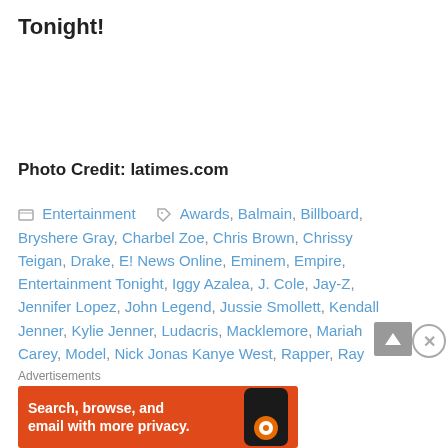Tonight!
Photo Credit: latimes.com
Entertainment  Awards, Balmain, Billboard, Bryshere Gray, Charbel Zoe, Chris Brown, Chrissy Teigan, Drake, E! News Online, Eminem, Empire, Entertainment Tonight, Iggy Azalea, J. Cole, Jay-Z, Jennifer Lopez, John Legend, Jussie Smollett, Kendall Jenner, Kylie Jenner, Ludacris, Macklemore, Mariah Carey, Model, Nick Jonas Kanye West, Rapper, Ray...
Advertisements
[Figure (other): DuckDuckGo advertisement banner: Search, browse, and email with more privacy. Shows a smartphone image on orange background.]